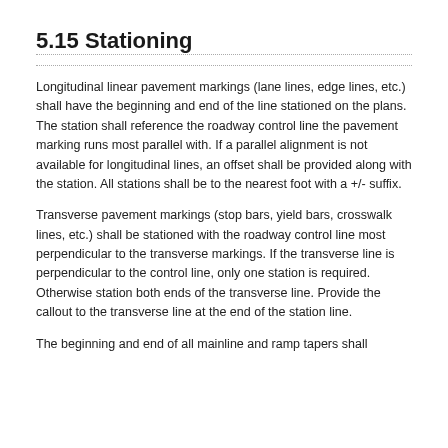5.15 Stationing
Longitudinal linear pavement markings (lane lines, edge lines, etc.) shall have the beginning and end of the line stationed on the plans.  The station shall reference the roadway control line the pavement marking runs most parallel with.  If a parallel alignment is not available for longitudinal lines, an offset shall be provided along with the station.  All stations shall be to the nearest foot with a +/- suffix.
Transverse pavement markings (stop bars, yield bars, crosswalk lines, etc.) shall be stationed with the roadway control line most perpendicular to the transverse markings.  If the transverse line is perpendicular to the control line, only one station is required.  Otherwise station both ends of the transverse line.  Provide the callout to the transverse line at the end of the station line.
The beginning and end of all mainline and ramp tapers shall